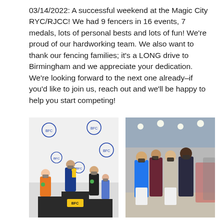03/14/2022: A successful weekend at the Magic City RYC/RJCC! We had 9 fencers in 16 events, 7 medals, lots of personal bests and lots of fun! We're proud of our hardworking team. We also want to thank our fencing families; it's a LONG drive to Birmingham and we appreciate your dedication. We're looking forward to the next one already–if you'd like to join us, reach out and we'll be happy to help you start competing!
[Figure (photo): Children standing on a podium with medals at a fencing competition. BFC banner in the background. One child on the left in orange shirt with green medal, center child in blue jacket holding trophy, another child in black with green medal, and others nearby.]
[Figure (photo): Group of teenage/young adult fencers and a coach posing together in a large convention center venue. All wearing face masks. One fencer in blue Nike shirt and white fencing knickers, others in various athletic wear.]